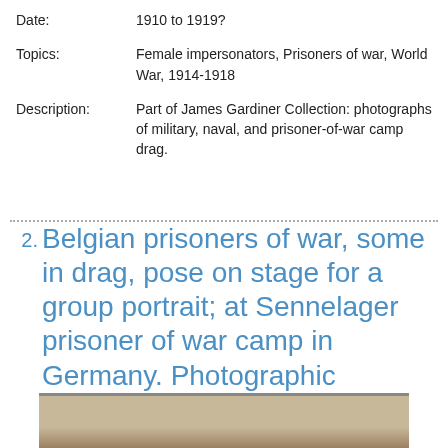Date: 1910 to 1919?
Topics: Female impersonators, Prisoners of war, World War, 1914-1918
Description: Part of James Gardiner Collection: photographs of military, naval, and prisoner-of-war camp drag.
2. Belgian prisoners of war, some in drag, pose on stage for a group portrait; at Sennelager prisoner of war camp in Germany. Photographic postcard, 1918.
[Figure (photo): Bottom strip of a sepia/brown photographic postcard showing group portrait on stage, partially cropped.]